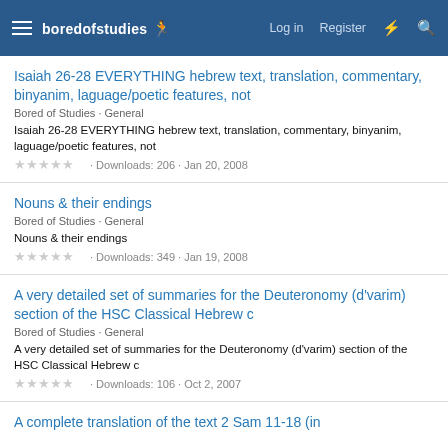boredofstudies | Log in | Register
Isaiah 26-28 EVERYTHING hebrew text, translation, commentary, binyanim, laguage/poetic features, not
Bored of Studies · General
Isaiah 26-28 EVERYTHING hebrew text, translation, commentary, binyanim, laguage/poetic features, not
· Downloads: 206 · Jan 20, 2008
Nouns & their endings
Bored of Studies · General
Nouns & their endings
· Downloads: 349 · Jan 19, 2008
A very detailed set of summaries for the Deuteronomy (d'varim) section of the HSC Classical Hebrew c
Bored of Studies · General
A very detailed set of summaries for the Deuteronomy (d'varim) section of the HSC Classical Hebrew c
· Downloads: 106 · Oct 2, 2007
A complete translation of the text 2 Sam 11-18 (in